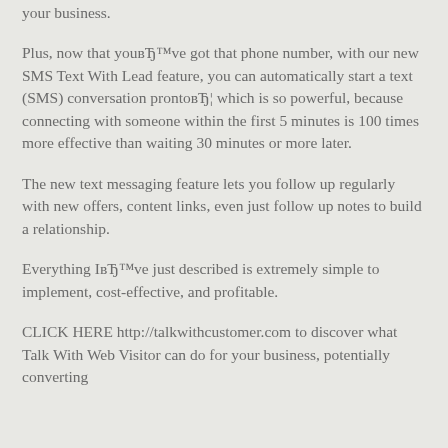your business.
Plus, now that you’ve got that phone number, with our new SMS Text With Lead feature, you can automatically start a text (SMS) conversation pronto… which is so powerful, because connecting with someone within the first 5 minutes is 100 times more effective than waiting 30 minutes or more later.
The new text messaging feature lets you follow up regularly with new offers, content links, even just follow up notes to build a relationship.
Everything I’ve just described is extremely simple to implement, cost-effective, and profitable.
CLICK HERE http://talkwithcustomer.com to discover what Talk With Web Visitor can do for your business, potentially converting